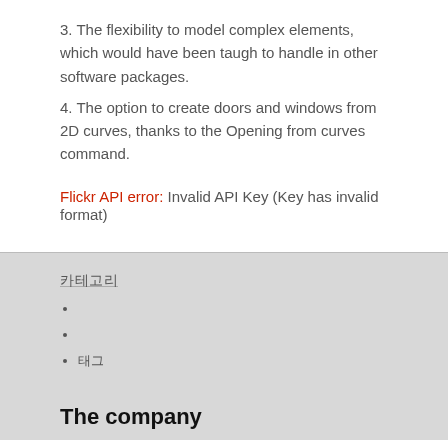3. The flexibility to model complex elements, which would have been taugh to handle in other software packages.
4. The option to create doors and windows from 2D curves, thanks to the Opening from curves command.
Flickr API error: Invalid API Key (Key has invalid format)
카테고리
태그
The company